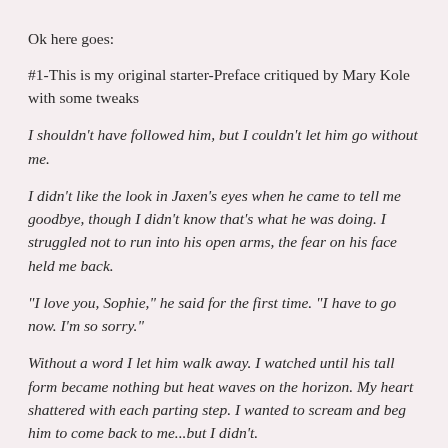Ok here goes:
#1-This is my original starter-Preface critiqued by Mary Kole with some tweaks
I shouldn't have followed him, but I couldn't let him go without me.
I didn't like the look in Jaxen's eyes when he came to tell me goodbye, though I didn't know that's what he was doing. I struggled not to run into his open arms, the fear on his face held me back.
"I love you, Sophie," he said for the first time. "I have to go now. I'm so sorry."
Without a word I let him walk away. I watched until his tall form became nothing but heat waves on the horizon. My heart shattered with each parting step. I wanted to scream and beg him to come back to me...but I didn't.
And now I lay with blood pooling in a sickening puddle beneath